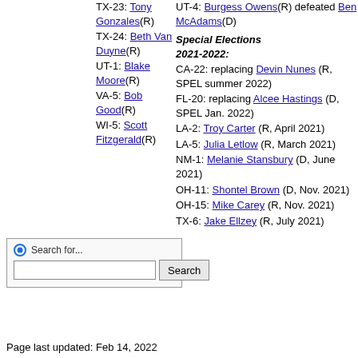TX-23: Tony Gonzales(R)
TX-24: Beth Van Duyne(R)
UT-1: Blake Moore(R)
VA-5: Bob Good(R)
WI-5: Scott Fitzgerald(R)
UT-4: Burgess Owens(R) defeated Ben McAdams(D)
Special Elections 2021-2022:
CA-22: replacing Devin Nunes (R, SPEL summer 2022)
FL-20: replacing Alcee Hastings (D, SPEL Jan. 2022)
LA-2: Troy Carter (R, April 2021)
LA-5: Julia Letlow (R, March 2021)
NM-1: Melanie Stansbury (D, June 2021)
OH-11: Shontel Brown (D, Nov. 2021)
OH-15: Mike Carey (R, Nov. 2021)
TX-6: Jake Ellzey (R, July 2021)
Page last updated: Feb 14, 2022